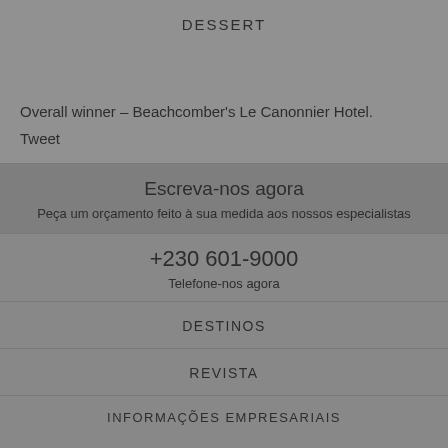DESSERT
Overall winner – Beachcomber's Le Canonnier Hotel.
Tweet
Escreva-nos agora
Peça um orçamento feito à sua medida aos nossos especialistas
+230 601-9000
Telefone-nos agora
DESTINOS
REVISTA
INFORMAÇÕES EMPRESARIAIS